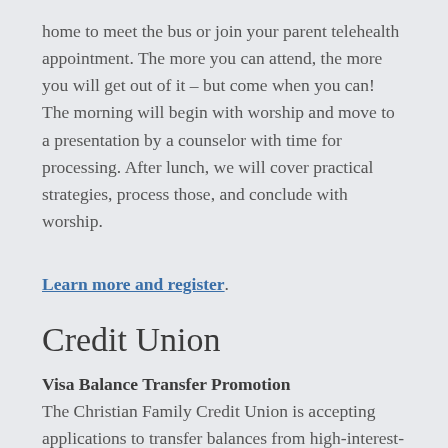home to meet the bus or join your parent telehealth appointment. The more you can attend, the more you will get out of it – but come when you can! The morning will begin with worship and move to a presentation by a counselor with time for processing. After lunch, we will cover practical strategies, process those, and conclude with worship.
Learn more and register.
Credit Union
Visa Balance Transfer Promotion
The Christian Family Credit Union is accepting applications to transfer balances from high-interest-rate credit cards to its credit card that has a fixed rate of 4.99% APR* for 36 months. Our goal is to provide a sound solution to help you pay off your credit card debt more